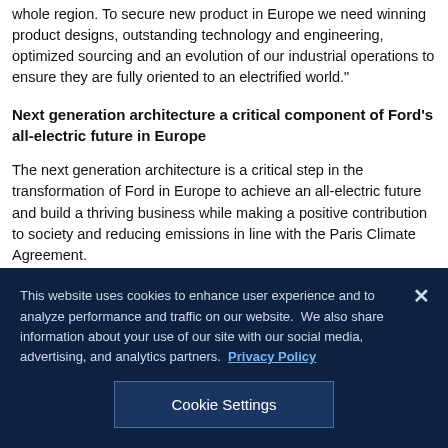whole region. To secure new product in Europe we need winning product designs, outstanding technology and engineering, optimized sourcing and an evolution of our industrial operations to ensure they are fully oriented to an electrified world."
Next generation architecture a critical component of Ford's all-electric future in Europe
The next generation architecture is a critical step in the transformation of Ford in Europe to achieve an all-electric future and build a thriving business while making a positive contribution to society and reducing emissions in line with the Paris Climate Agreement.
Ford's plans for all-electric future in Europe supports the glob...
This website uses cookies to enhance user experience and to analyze performance and traffic on our website. We also share information about your use of our site with our social media, advertising, and analytics partners.  Privacy Policy
Cookie Settings